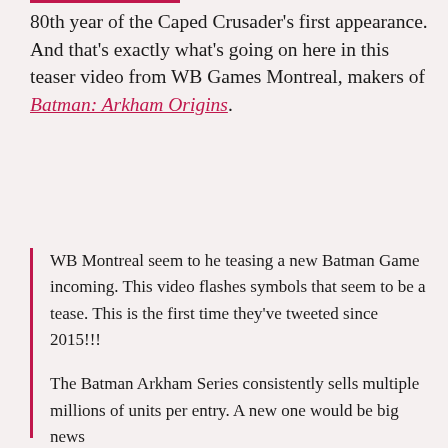80th year of the Caped Crusader's first appearance. And that's exactly what's going on here in this teaser video from WB Games Montreal, makers of Batman: Arkham Origins.
WB Montreal seem to he teasing a new Batman Game incoming. This video flashes symbols that seem to be a tease. This is the first time they've tweeted since 2015!!!

The Batman Arkham Series consistently sells multiple millions of units per entry. A new one would be big news
https://t.co/FliVNIctks

— Benji-Sales (@BenjiSales) September 22, 2019